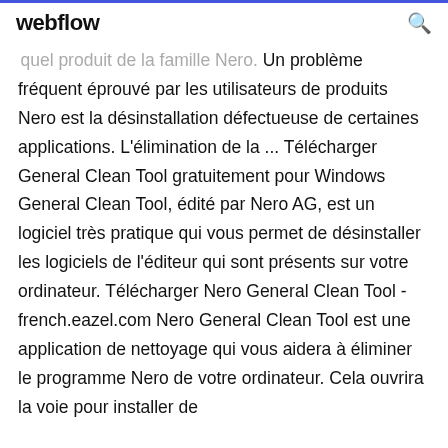webflow
quel produit de la famille Nero. Un problème fréquent éprouvé par les utilisateurs de produits Nero est la désinstallation défectueuse de certaines applications. L'élimination de la ... Télécharger General Clean Tool gratuitement pour Windows General Clean Tool, édité par Nero AG, est un logiciel très pratique qui vous permet de désinstaller les logiciels de l'éditeur qui sont présents sur votre ordinateur. Télécharger Nero General Clean Tool - french.eazel.com Nero General Clean Tool est une application de nettoyage qui vous aidera à éliminer le programme Nero de votre ordinateur. Cela ouvrira la voie pour installer de